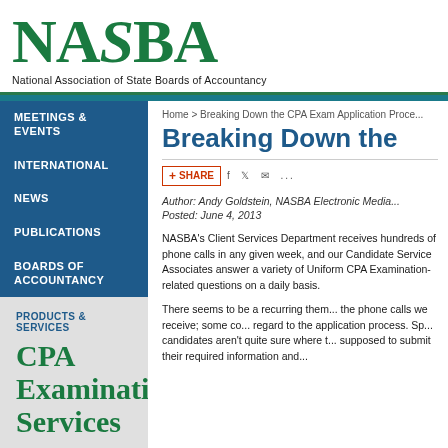[Figure (logo): NASBA logo - National Association of State Boards of Accountancy green wordmark with tagline]
National Association of State Boards of Accountancy
MEETINGS & EVENTS
INTERNATIONAL
NEWS
PUBLICATIONS
BOARDS OF ACCOUNTANCY
PRODUCTS & SERVICES
[Figure (logo): CPA Examination Services green text logo]
Home > Breaking Down the CPA Exam Application Proce...
Breaking Down the
[Figure (screenshot): Share bar with +SHARE button and Facebook, Twitter, email icons]
Author: Andy Goldstein, NASBA Electronic Media...
Posted: June 4, 2013
NASBA's Client Services Department receives hundreds of phone calls in any given week, and our Candidate Service Associates answer a variety of Uniform CPA Examination-related questions on a daily basis.
There seems to be a recurring them... the phone calls we receive; some co... regard to the application process. Sp... candidates aren't quite sure where t... supposed to submit their required information and...